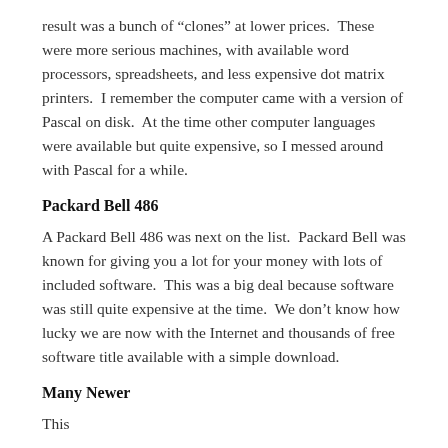result was a bunch of “clones” at lower prices. These were more serious machines, with available word processors, spreadsheets, and less expensive dot matrix printers. I remember the computer came with a version of Pascal on disk. At the time other computer languages were available but quite expensive, so I messed around with Pascal for a while.
Packard Bell 486
A Packard Bell 486 was next on the list. Packard Bell was known for giving you a lot for your money with lots of included software. This was a big deal because software was still quite expensive at the time. We don’t know how lucky we are now with the Internet and thousands of free software title available with a simple download.
Many Newer
This has been cut from this page building